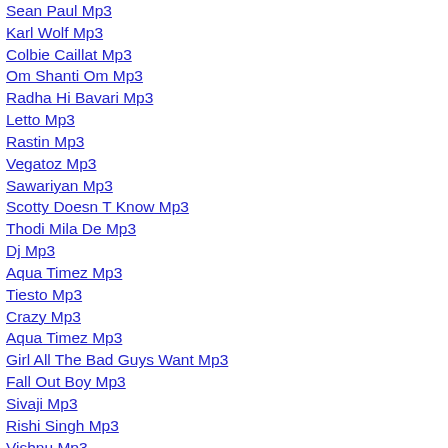Sean Paul Mp3
Karl Wolf Mp3
Colbie Caillat Mp3
Om Shanti Om Mp3
Radha Hi Bavari Mp3
Letto Mp3
Rastin Mp3
Vegatoz Mp3
Sawariyan Mp3
Scotty Doesn T Know Mp3
Thodi Mila De Mp3
Dj Mp3
Aqua Timez Mp3
Tiesto Mp3
Crazy Mp3
Aqua Timez Mp3
Girl All The Bad Guys Want Mp3
Fall Out Boy Mp3
Sivaji Mp3
Rishi Singh Mp3
Vishnu Mp3
Sway Mp3
Carmina Burana Mp3
Kelly Clarkson Mp3
Dhol Mp3